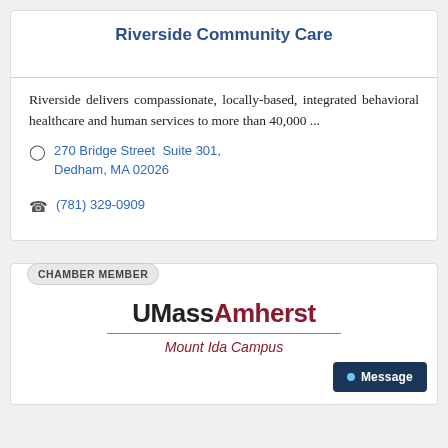Riverside Community Care
Riverside delivers compassionate, locally-based, integrated behavioral healthcare and human services to more than 40,000 ...
270 Bridge Street Suite 301, Dedham, MA 02026
(781) 329-0909
CHAMBER MEMBER
[Figure (logo): UMass Amherst logo with 'Mount Ida Campus' subtitle]
Message